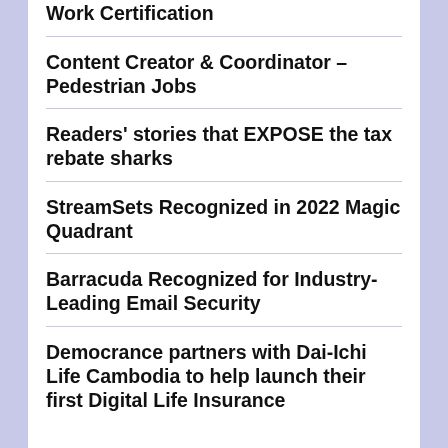Work Certification
Content Creator & Coordinator – Pedestrian Jobs
Readers' stories that EXPOSE the tax rebate sharks
StreamSets Recognized in 2022 Magic Quadrant
Barracuda Recognized for Industry-Leading Email Security
Democrance partners with Dai-Ichi Life Cambodia to help launch their first Digital Life Insurance